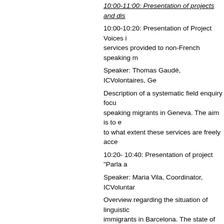10:00-11:00: Presentation of projects and dis
10:00-10:20: Presentation of Project Voices i services provided to non-French speaking m
Speaker: Thomas Gaudé, ICVolontaires, Ge
Description of a systematic field enquiry focu speaking migrants in Geneva. The aim is to e to what extent these services are freely acce
10:20- 10:40: Presentation of project "Parla a
Speaker: Maria Vila, Coordinator, ICVoluntar
Overview regarding the situation of linguistic immigrants in Barcelona. The state of the art recruitment of translators / interpreters.
10:40-11:00: Presentation of the language a
Speaker: Rabah Tounsi, Project Coordinator,
Portrait of the situation in Ferney-Voltaire ane focusing on multicultural accompanying whic
11:00-11:15: Discussion and questions
Moderator: Viola Krebs, Executive Director, I
11:15-11:45: Presentation of the language a Models for community language services in t
Speaker: Julia Puebla Fortier
In the United States of America, charitable o